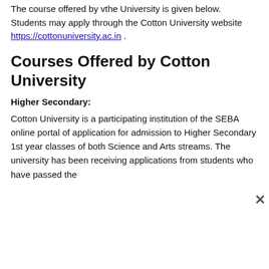The course offered by vthe University is given below. Students may apply through the Cotton University website https://cottonuniversity.ac.in .
Courses Offered by Cotton University
Higher Secondary:
Cotton University is a participating institution of the SEBA online portal of application for admission to Higher Secondary 1st year classes of both Science and Arts streams. The university has been receiving applications from students who have passed the